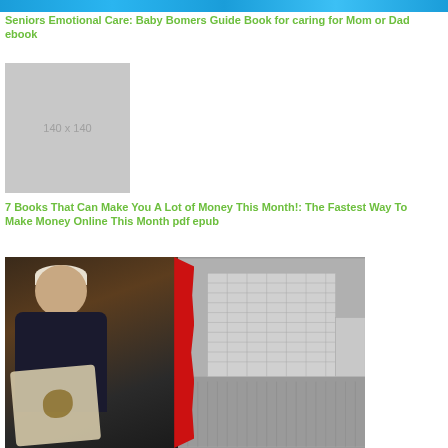[Figure (other): Decorative blue gradient banner strip at top of page]
Seniors Emotional Care: Baby Bomers Guide Book for caring for Mom or Dad ebook
[Figure (other): Placeholder image showing '140 x 140' in gray box]
7 Books That Can Make You A Lot of Money This Month!: The Fastest Way To Make Money Online This Month pdf epub
[Figure (photo): Photo collage: left side shows elderly man in dark shirt holding cloth/fabric item with stain; right side shows black and white aerial photograph of large multi-story building complex; divided by red torn paper effect]